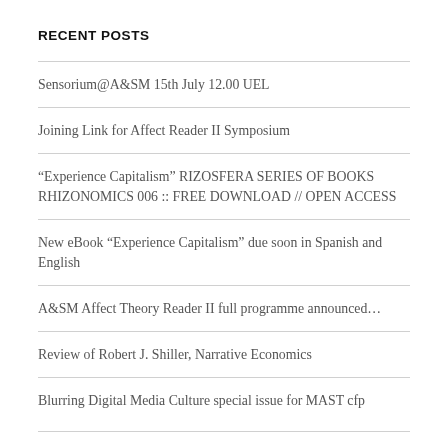RECENT POSTS
Sensorium@A&SM 15th July 12.00 UEL
Joining Link for Affect Reader II Symposium
“Experience Capitalism” RIZOSFERA SERIES OF BOOKS RHIZONOMICS 006 :: FREE DOWNLOAD // OPEN ACCESS
New eBook “Experience Capitalism” due soon in Spanish and English
A&SM Affect Theory Reader II full programme announced…
Review of Robert J. Shiller, Narrative Economics
Blurring Digital Media Culture special issue for MAST cfp